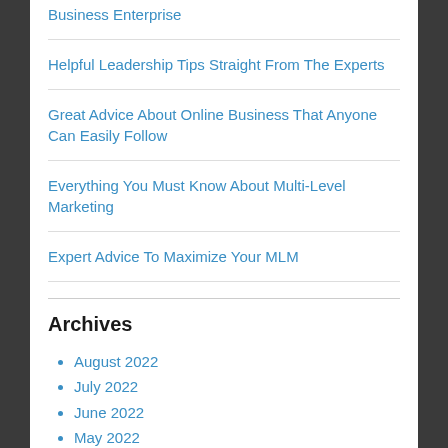Business Enterprise
Helpful Leadership Tips Straight From The Experts
Great Advice About Online Business That Anyone Can Easily Follow
Everything You Must Know About Multi-Level Marketing
Expert Advice To Maximize Your MLM
Archives
August 2022
July 2022
June 2022
May 2022
April 2022
March 2022